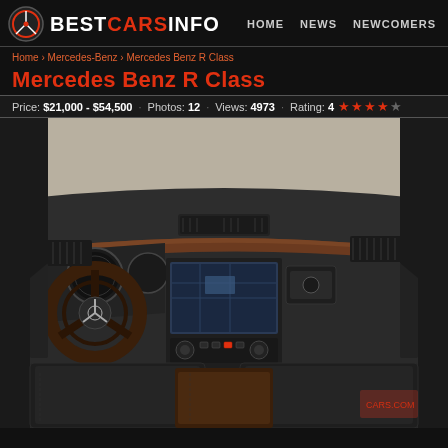BESTCARSINFO  HOME  NEWS  NEWCOMERS
Home › Mercedes-Benz › Mercedes Benz R Class
Mercedes Benz R Class
Price: $21,000 - $54,500  ·  Photos: 12  ·  Views: 4973  ·  Rating: 4 ★★★★☆
[Figure (photo): Interior dashboard photo of Mercedes Benz R Class showing steering wheel, instrument cluster, center console with navigation screen, climate controls, wood trim, and front seats in black leather]